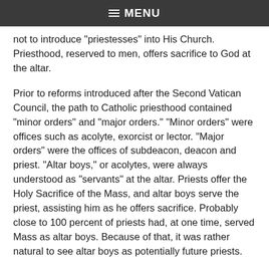☰ MENU
not to introduce "priestesses" into His Church. Priesthood, reserved to men, offers sacrifice to God at the altar.
Prior to reforms introduced after the Second Vatican Council, the path to Catholic priesthood contained "minor orders" and "major orders." "Minor orders" were offices such as acolyte, exorcist or lector. "Major orders" were the offices of subdeacon, deacon and priest. "Altar boys," or acolytes, were always understood as "servants" at the altar. Priests offer the Holy Sacrifice of the Mass, and altar boys serve the priest, assisting him as he offers sacrifice. Probably close to 100 percent of priests had, at one time, served Mass as altar boys. Because of that, it was rather natural to see altar boys as potentially future priests.
It should be rather obvious that w do can be done by "altar girls." It's also ob at